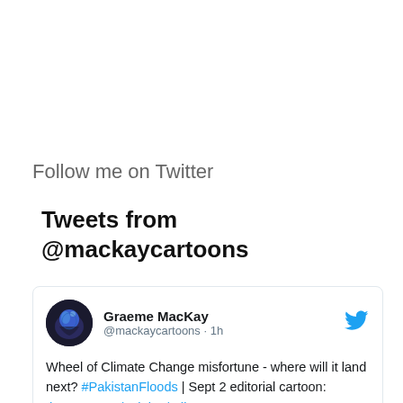Follow me on Twitter
Tweets from @mackaycartoons
Graeme MacKay @mackaycartoons · 1h
Wheel of Climate Change misfortune - where will it land next? #PakistanFloods | Sept 2 editorial cartoon: thespec.com/opinion/editor…
[Figure (screenshot): Partial image preview of editorial cartoon showing text 'CAUSE DEATH AND DESTRUCTION IN' with colorful background]